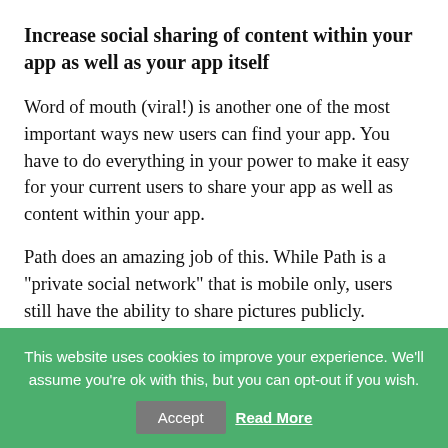Increase social sharing of content within your app as well as your app itself
Word of mouth (viral!) is another one of the most important ways new users can find your app. You have to do everything in your power to make it easy for your current users to share your app as well as content within your app.
Path does an amazing job of this. While Path is a “private social network” that is mobile only, users still have the ability to share pictures publicly.
This website uses cookies to improve your experience. We’ll assume you’re ok with this, but you can opt-out if you wish.
Accept   Read More